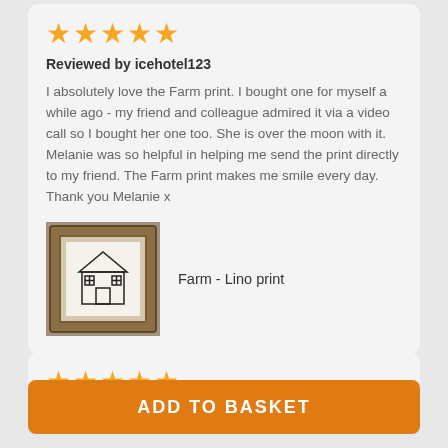[Figure (other): Five gold star rating icons]
Reviewed by icehotel123
I absolutely love the Farm print. I bought one for myself a while ago - my friend and colleague admired it via a video call so I bought her one too. She is over the moon with it. Melanie was so helpful in helping me send the print directly to my friend. The Farm print makes me smile every day. Thank you Melanie x
[Figure (photo): Photo of a framed Farm - Lino print artwork with a wooden frame]
Farm - Lino print
[Figure (other): Five gold star rating icons (partial second review)]
ADD TO BASKET